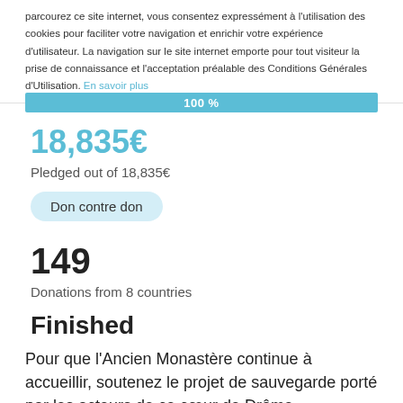parcourez ce site internet, vous consentez expressément à l'utilisation des cookies pour faciliter votre navigation et enrichir votre expérience d'utilisateur. La navigation sur le site internet emporte pour tout visiteur la prise de connaissance et l'acceptation préalable des Conditions Générales d'Utilisation. En savoir plus
[Figure (infographic): A full-width teal/light-blue progress bar showing 100%]
18,835€
Pledged out of 18,835€
Don contre don
149
Donations from 8 countries
Finished
Pour que l'Ancien Monastère continue à accueillir, soutenez le projet de sauvegarde porté par les acteurs de ce cœur de Drôme.